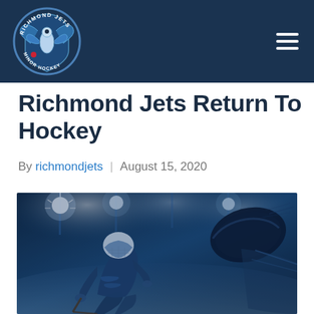Richmond Jets Minor Hockey — navigation header with logo and menu icon
Richmond Jets Return To Hockey
By richmondjets | August 15, 2020
[Figure (photo): Hockey player in full gear on the ice in a rink, blue-tinted photo with stadium lights in background and a large puck flying through the air on the right side]